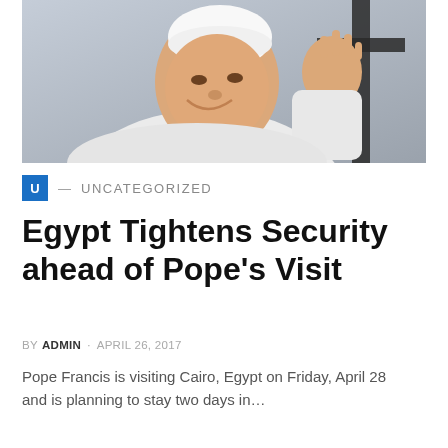[Figure (photo): Pope Francis dressed in white papal vestments and zucchetto, smiling and waving with his right hand raised, with a dark cross visible in the background.]
U — UNCATEGORIZED
Egypt Tightens Security ahead of Pope's Visit
BY ADMIN · APRIL 26, 2017
Pope Francis is visiting Cairo, Egypt on Friday, April 28 and is planning to stay two days in...